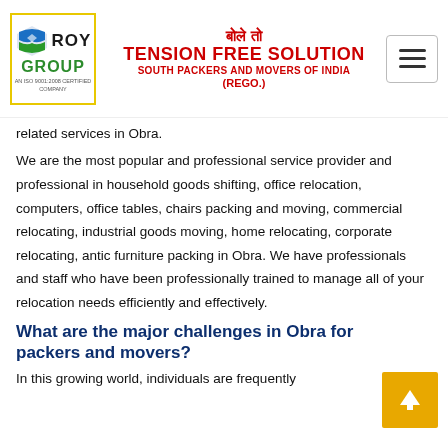[Figure (logo): Roy Group logo with yellow border, blue/green icon, and red 'TENSION FREE SOLUTION / SOUTH PACKERS AND MOVERS OF INDIA (REGO.)' text header]
related services in Obra.
We are the most popular and professional service provider and professional in household goods shifting, office relocation, computers, office tables, chairs packing and moving, commercial relocating, industrial goods moving, home relocating, corporate relocating, antic furniture packing in Obra. We have professionals and staff who have been professionally trained to manage all of your relocation needs efficiently and effectively.
What are the major challenges in Obra for packers and movers?
In this growing world, individuals are frequently